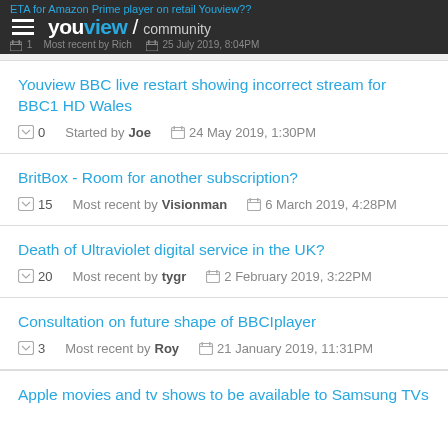ETA for Amazon Prime player on retail Youview?? | youview / community | 1 Most recent by Rich | 25 July 2019, 8:04PM
Youview BBC live restart showing incorrect stream for BBC1 HD Wales
0  Started by Joe  24 May 2019, 1:30PM
BritBox - Room for another subscription?
15  Most recent by Visionman  6 March 2019, 4:28PM
Death of Ultraviolet digital service in the UK?
20  Most recent by tygr  2 February 2019, 3:22PM
Consultation on future shape of BBCIplayer
3  Most recent by Roy  21 January 2019, 11:31PM
Apple movies and tv shows to be available to Samsung TVs